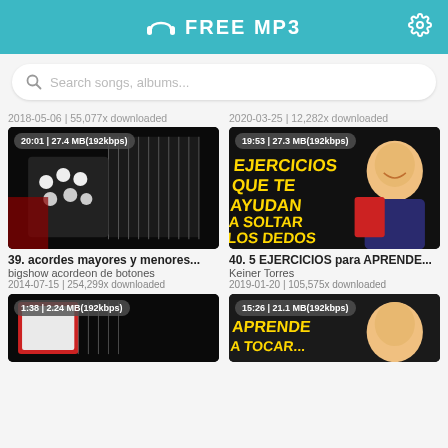FREE MP3
Search songs, albums...
2018-05-06 | 55,077x downloaded
2020-03-25 | 12,282x downloaded
[Figure (photo): Accordion close-up hands playing, dark background. Badge: 20:01 | 27.4 MB(192kbps)]
[Figure (photo): YouTube thumbnail: EJERCICIOS QUE TE AYUDAN A SOLTAR LOS DEDOS, man with accordion. Badge: 19:53 | 27.3 MB(192kbps)]
39. acordes mayores y menores...
bigshow acordeon de botones
2014-07-15 | 254,299x downloaded
40. 5 EJERCICIOS para APRENDE...
Keiner Torres
2019-01-20 | 105,575x downloaded
[Figure (photo): Accordion close-up red/white, partial view. Badge: 1:38 | 2.24 MB(192kbps)]
[Figure (photo): YouTube thumbnail: APRENDE A TOCAR... man smiling. Badge: 15:26 | 21.1 MB(192kbps)]